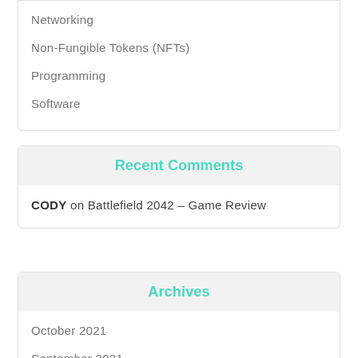Networking
Non-Fungible Tokens (NFTs)
Programming
Software
Recent Comments
CODY on Battlefield 2042 – Game Review
Archives
October 2021
September 2021